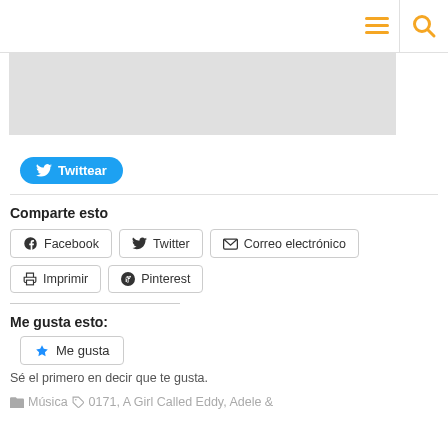[Figure (other): Gray rectangular placeholder banner image]
Twittear
Comparte esto
Facebook  Twitter  Correo electrónico  Imprimir  Pinterest
Me gusta esto:
Me gusta
Sé el primero en decir que te gusta.
Música  0171, A Girl Called Eddy, Adele &